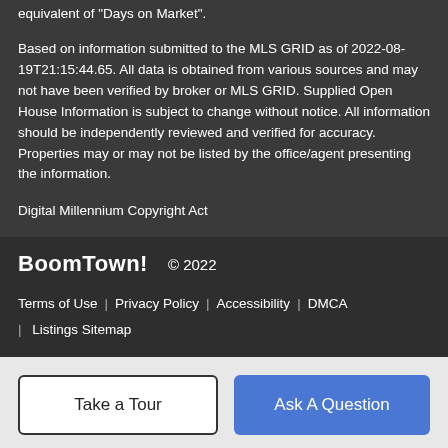equivalent of "Days on Market".
Based on information submitted to the MLS GRID as of 2022-08-19T21:15:44.65. All data is obtained from various sources and may not have been verified by broker or MLS GRID. Supplied Open House Information is subject to change without notice. All information should be independently reviewed and verified for accuracy. Properties may or may not be listed by the office/agent presenting the information.
Digital Millennium Copyright Act
BoomTown! © 2022
Terms of Use | Privacy Policy | Accessibility | DMCA | Listings Sitemap
Take a Tour
Ask A Question